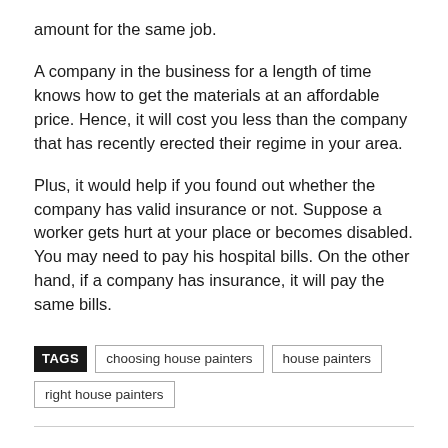amount for the same job.
A company in the business for a length of time knows how to get the materials at an affordable price. Hence, it will cost you less than the company that has recently erected their regime in your area.
Plus, it would help if you found out whether the company has valid insurance or not. Suppose a worker gets hurt at your place or becomes disabled. You may need to pay his hospital bills. On the other hand, if a company has insurance, it will pay the same bills.
TAGS   choosing house painters   house painters   right house painters